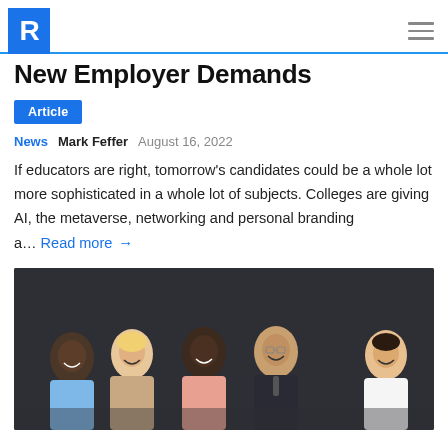R [logo] [hamburger menu]
New Employer Demands
Article
News  Mark Feffer  August 16, 2022
If educators are right, tomorrow's candidates could be a whole lot more sophisticated in a whole lot of subjects. Colleges are giving AI, the metaverse, networking and personal branding a... Read more →
[Figure (photo): Five diverse young professionals smiling and laughing together against a dark gray background]